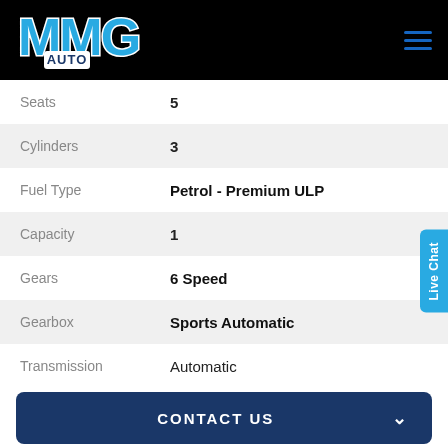[Figure (logo): MMG Auto logo on black header background with hamburger menu icon]
| Attribute | Value |
| --- | --- |
| Seats | 5 |
| Cylinders | 3 |
| Fuel Type | Petrol - Premium ULP |
| Capacity | 1 |
| Gears | 6 Speed |
| Gearbox | Sports Automatic |
| Transmission | Automatic |
CONTACT US
FINANCE THIS VEHICLE